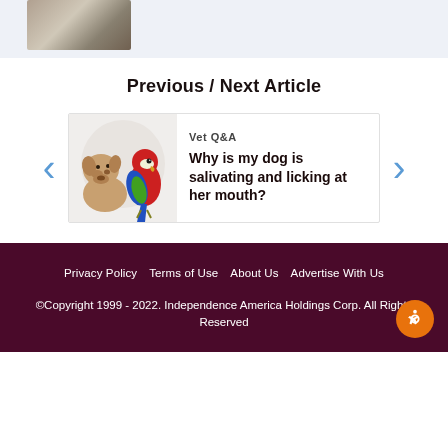[Figure (photo): Partial photo of a dog at top of page]
Previous / Next Article
Vet Q&A
[Figure (photo): Photo of a large dog (mastiff) and a red parrot/macaw together]
Why is my dog is salivating and licking at her mouth?
Privacy Policy   Terms of Use   About Us   Advertise With Us
©Copyright 1999 - 2022. Independence America Holdings Corp. All Rights Reserved